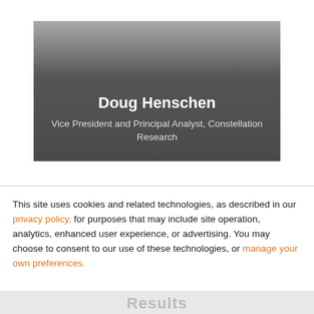[Figure (photo): Profile card with gradient gray background showing Doug Henschen's name and title]
Doug Henschen
Vice President and Principal Analyst, Constellation Research
This site uses cookies and related technologies, as described in our privacy policy, for purposes that may include site operation, analytics, enhanced user experience, or advertising. You may choose to consent to our use of these technologies, or manage your own preferences.
Accept all